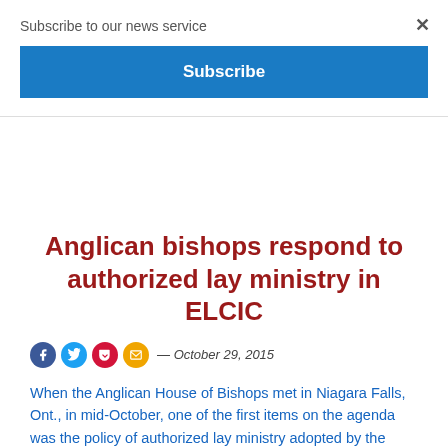Subscribe to our news service
Subscribe
Anglican bishops respond to authorized lay ministry in ELCIC
— October 29, 2015
When the Anglican House of Bishops met in Niagara Falls, Ont., in mid-October, one of the first items on the agenda was the policy of authorized lay ministry adopted by the Evangelical Lutheran Church in Canada (ELCIC)